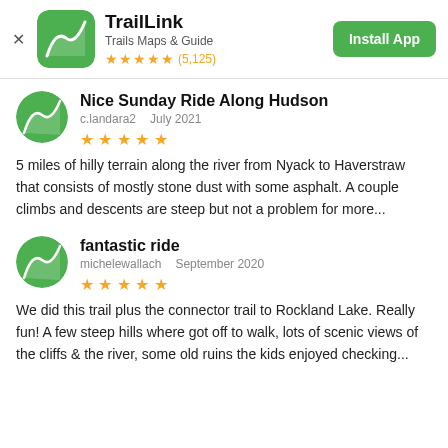[Figure (logo): TrailLink app banner with green logo icon showing a winding trail path, app name, subtitle, star rating, and Install App button]
Nice Sunday Ride Along Hudson
c.landara2   July 2021
5 miles of hilly terrain along the river from Nyack to Haverstraw that consists of mostly stone dust with some asphalt. A couple climbs and descents are steep but not a problem for more...
fantastic ride
michelewallach   September 2020
We did this trail plus the connector trail to Rockland Lake. Really fun! A few steep hills where got off to walk, lots of scenic views of the cliffs & the river, some old ruins the kids enjoyed checking...